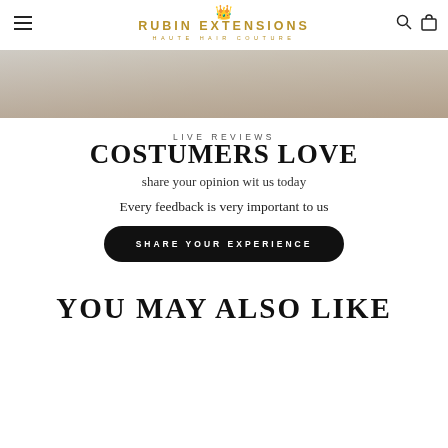RUBIN EXTENSIONS HAUTE HAIR COUTURE
[Figure (photo): Partial view of a person wearing a grey top, cropped hero image at top of page]
LIVE REVIEWS
COSTUMERS LOVE
share your opinion wit us today
Every feedback is very important to us
SHARE YOUR EXPERIENCE
YOU MAY ALSO LIKE